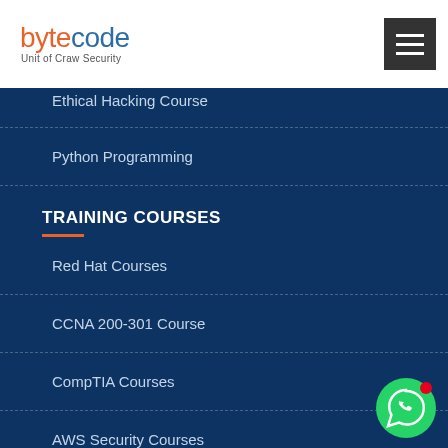[Figure (logo): Bytecode logo with orange 'byte' and blue 'code' text, subtitle 'Unit of Craw Security']
[Figure (other): Hamburger/menu button in dark grey]
Ethical Hacking Course
Python Programming
TRAINING COURSES
Red Hat Courses
CCNA 200-301 Course
CompTIA Courses
AWS Security Courses
[Figure (other): Green WhatsApp circular button with red notification dot]